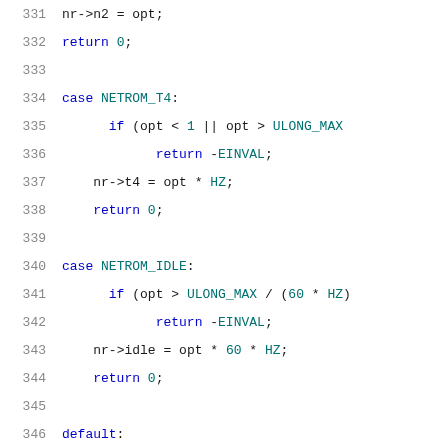Source code snippet lines 331-351 showing C code for network socket options including cases NETROM_T4, NETROM_IDLE, default, and start of nr_getsockopt function.